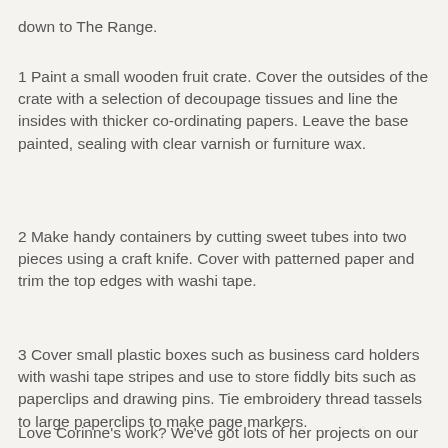down to The Range.
1 Paint a small wooden fruit crate. Cover the outsides of the crate with a selection of decoupage tissues and line the insides with thicker co-ordinating papers. Leave the base painted, sealing with clear varnish or furniture wax.
2 Make handy containers by cutting sweet tubes into two pieces using a craft knife. Cover with patterned paper and trim the top edges with washi tape.
3 Cover small plastic boxes such as business card holders with washi tape stripes and use to store fiddly bits such as paperclips and drawing pins. Tie embroidery thread tassels to large paperclips to make page markers.
Love Corinne's work? We've got lots of her projects on our website, such as this…